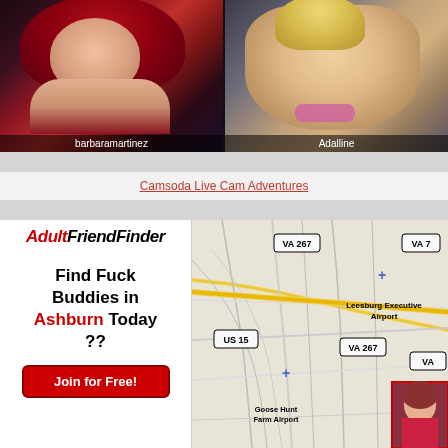[Figure (photo): Two side-by-side webcam/photo images. Left: woman with red hair labeled 'barbaramartinez'. Right: blonde woman labeled 'Adalline'.]
Camsoda Live Cam Adventures
[Figure (infographic): AdultFriendFinder advertisement with logo, text 'Find Fuck Buddies in Ashburn Today ??' and 'Join for Free!' button]
[Figure (map): Road map showing Leesburg Executive Airport area in Virginia, with route markers VA 267, VA 7, US 15, and Goose Hunt Farm Airport labeled]